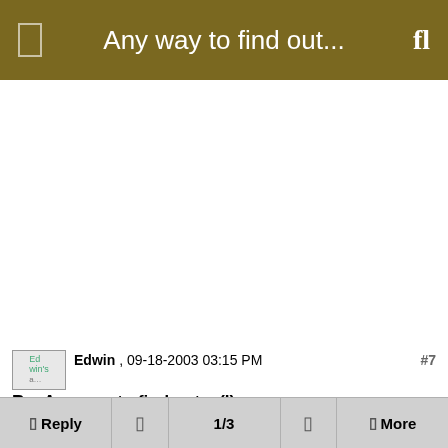Any way to find out...
Edwin , 09-18-2003 03:15 PM #7
Re: Any way to find out... (I)
Hi there Luke.
Reply  |  1/3  |  More